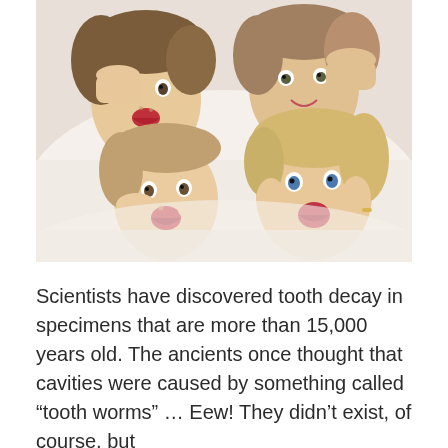[Figure (photo): Overhead photo of a family of four lying on a white surface with their heads together, all making surprised/excited facial expressions looking up at the camera. Two adults and two children wearing white clothing.]
Scientists have discovered tooth decay in specimens that are more than 15,000 years old. The ancients once thought that cavities were caused by something called “tooth worms” … Eew! They didn’t exist, of course, but